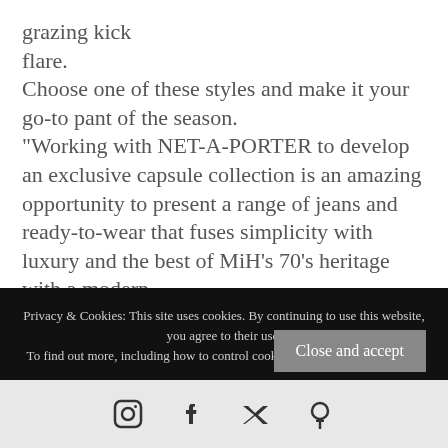grazing kick
flare.
Choose one of these styles and make it your go-to pant of the season.
"Working with NET-A-PORTER to develop an exclusive capsule collection is an amazing opportunity to present a range of jeans and ready-to-wear that fuses simplicity with luxury and the best of MiH’s 70’s heritage with a modern
Privacy & Cookies: This site uses cookies. By continuing to use this website, you agree to their use.
To find out more, including how to control cookies, see here: Cookie Policy
Close and accept
[Figure (infographic): Social media icons bar: Instagram, Facebook, Twitter, Pinterest]
We are very excited to be able to offer this exclusive